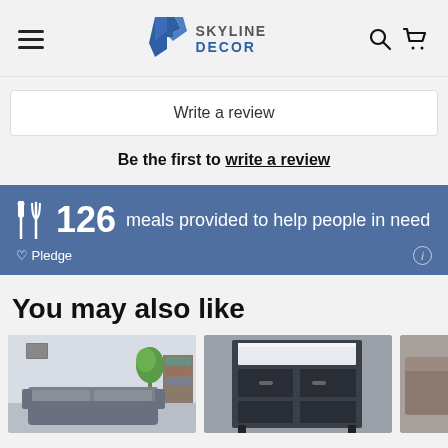Skyline Decor — navigation header with hamburger menu, logo, search and cart icons
Write a review
Be the first to write a review
126 meals provided to help people in need ♡ Pledge
You may also like
[Figure (photo): Three product thumbnail images of furniture items — a grey sofa, a dark shelving unit, and an upholstered chair — shown in a horizontal row.]